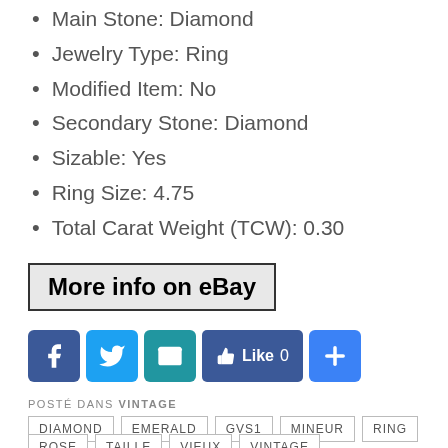Main Stone: Diamond
Jewelry Type: Ring
Modified Item: No
Secondary Stone: Diamond
Sizable: Yes
Ring Size: 4.75
Total Carat Weight (TCW): 0.30
[Figure (other): More info on eBay button — rectangular button with border and gray background]
[Figure (other): Social sharing icons: Facebook, Twitter, Email, Like button, Share plus button]
POSTÉ DANS VINTAGE
DIAMOND   EMERALD   GVS1   MINEUR   RING
ROSE   TAILLE   VIEUX   VINTAGE